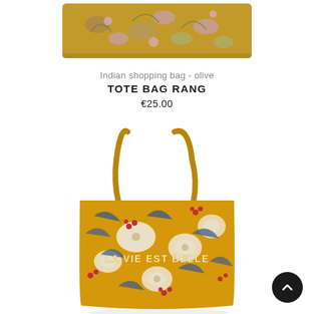[Figure (photo): Folded Indian shopping bag in olive/yellow color with floral pattern showing flowers and leaves in pink, blue and green tones, partially visible at the top of the page]
Indian shopping bag - olive
TOTE BAG RANG
€25.00
[Figure (photo): Large yellow/mustard tote bag with bold floral print in blue, white and red, featuring the text 'LA VIE EST BELLE' embossed/printed across the front, with long handles, shown full size against white background]